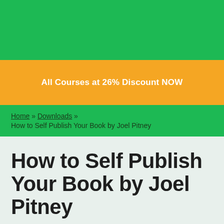All Courses at 26% Discount NOW
Home » Downloads » How to Self Publish Your Book by Joel Pitney
How to Self Publish Your Book by Joel Pitney